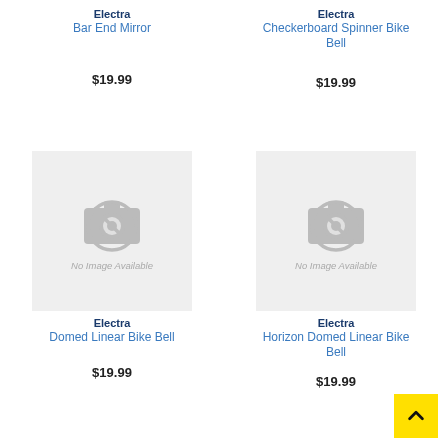Electra
Bar End Mirror
$19.99
Electra
Checkerboard Spinner Bike Bell
$19.99
[Figure (photo): No Image Available placeholder for Domed Linear Bike Bell]
Electra
Domed Linear Bike Bell
$19.99
[Figure (photo): No Image Available placeholder for Horizon Domed Linear Bike Bell]
Electra
Horizon Domed Linear Bike Bell
$19.99